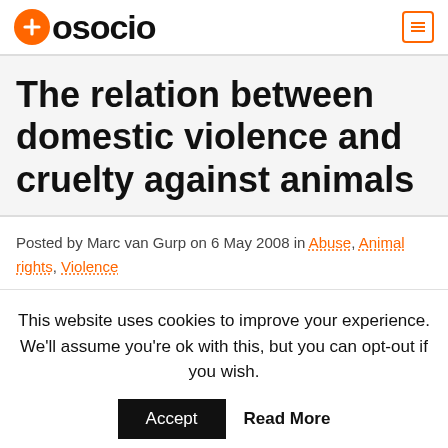aosocio
The relation between domestic violence and cruelty against animals
Posted by Marc van Gurp on 6 May 2008 in Abuse, Animal rights, Violence
This website uses cookies to improve your experience. We'll assume you're ok with this, but you can opt-out if you wish. Accept Read More